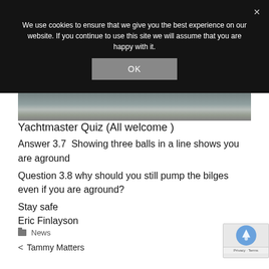We use cookies to ensure that we give you the best experience on our website. If you continue to use this site we will assume that you are happy with it.
[Figure (screenshot): Cookie consent OK button on dark overlay]
[Figure (photo): Boats docked at marina, partial view at bottom of overlay]
Yachtmaster Quiz (All welcome )
Answer 3.7  Showing three balls in a line shows you are aground
Question 3.8 why should you still pump the bilges even if you are aground?
Stay safe
Eric Finlayson
News
< Tammy Matters